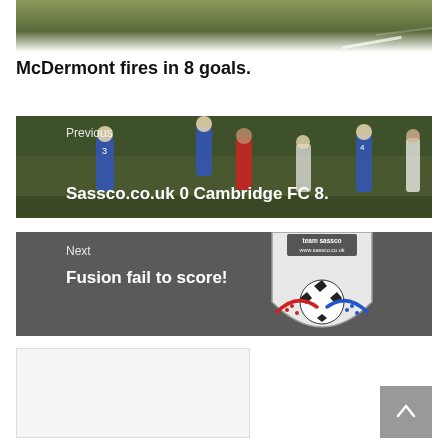[Figure (photo): Top portion of a football/soccer field photo showing grass and a white line]
McDermont fires in 8 goals.
[Figure (photo): Previous post navigation block with photo of football players in blue and red kits competing for the ball. Label: Previous. Title: Sassco.co.uk 0 Cambridge FC 8.]
[Figure (photo): Next post navigation block with grey background and Sassco.co.uk football club logo (shield with soccer ball, red and blue swooshes). Label: Next. Title: Fusion fail to score!]